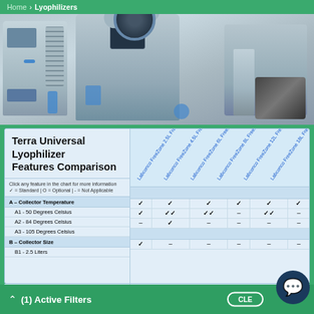Home > Lyophilizers
[Figure (photo): Three stainless steel laboratory lyophilizer/freeze dryer machines on a grey background]
Terra Universal Lyophilizer Features Comparison
| Feature | Labconco FreeZone 2.5L Freeze Dryer | Labconco FreeZone 4.5L Freeze Dryer | Labconco FreeZone 6L Freeze Dryer | Labconco FreeZone 8L Freeze Dryer | Labconco FreeZone 12L Freeze Dryer | Labconco FreeZone 18L Freeze Dryer |
| --- | --- | --- | --- | --- | --- | --- |
| Click any feature in the chart for more information |  |  |  |  |  |  |
| ✓ = Standard | O = Optional | - = Not Applicable |  |  |  |  |  |  |
| A - Collector Temperature |  |  |  |  |  |  |
| A1 - 50 Degrees Celsius | ✓ | ✓ | ✓ | ✓ | ✓ | ✓ |
| A2 - 84 Degrees Celsius | ✓ | ✓✓ | ✓✓ | - | ✓✓ | - |
| A3 - 105 Degrees Celsius | - | ✓ | - | - | - | - |
| B - Collector Size |  |  |  |  |  |  |
| B1 - 2.5 Liters | ✓ | - | - | - | - | - |
(1) Active Filters